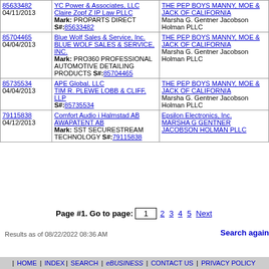| Serial/Date | Applicant/Mark | Defendant/Attorney |
| --- | --- | --- |
| 85633482
04/11/2013 | YC Power & Associates, LLC
Claire Zopf Z IP Law PLLC
Mark: PROPARTS DIRECT
S#:85633482 | THE PEP BOYS MANNY, MOE & JACK OF CALIFORNIA
Marsha G. Gentner Jacobson Holman PLLC |
| 85704465
04/04/2013 | Blue Wolf Sales & Service, Inc.
BLUE WOLF SALES & SERVICE, INC.
Mark: PRO360 PROFESSIONAL AUTOMOTIVE DETAILING PRODUCTS S#:85704465 | THE PEP BOYS MANNY, MOE & JACK OF CALIFORNIA
Marsha G. Gentner Jacobson Holman PLLC |
| 85735534
04/04/2013 | APE Global, LLC
TIM R. PLEWE LOBB & CLIFF, LLP
S#:85735534 | THE PEP BOYS MANNY, MOE & JACK OF CALIFORNIA
Marsha G. Gentner Jacobson Holman PLLC |
| 79115838
04/12/2013 | Comfort Audio i Halmstad AB
AWAPATENT AB
Mark: SST SECURESTREAM TECHNOLOGY S#:79115838 | Epsilon Electronics, Inc.
MARSHA G GENTNER JACOBSON HOLMAN PLLC |
Page #1. Go to page: 1   2 3 4 5 Next
Results as of 08/22/2022 08:36 AM
Search again
| HOME | INDEX| SEARCH | eBUSINESS | CONTACT US | PRIVACY POLICY